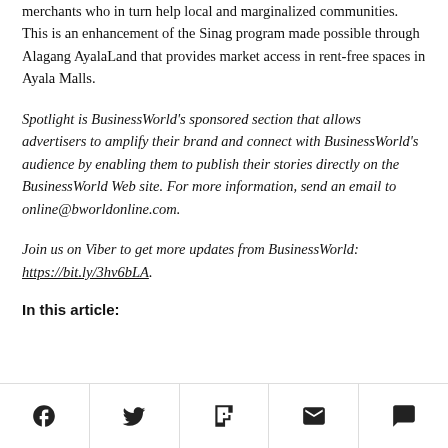merchants who in turn help local and marginalized communities. This is an enhancement of the Sinag program made possible through Alagang AyalaLand that provides market access in rent-free spaces in Ayala Malls.
Spotlight is BusinessWorld's sponsored section that allows advertisers to amplify their brand and connect with BusinessWorld's audience by enabling them to publish their stories directly on the BusinessWorld Web site. For more information, send an email to online@bworldonline.com.
Join us on Viber to get more updates from BusinessWorld: https://bit.ly/3hv6bLA.
In this article:
[Figure (other): Social sharing bar with icons for Facebook, Twitter, Flipboard, Email, and Comment]